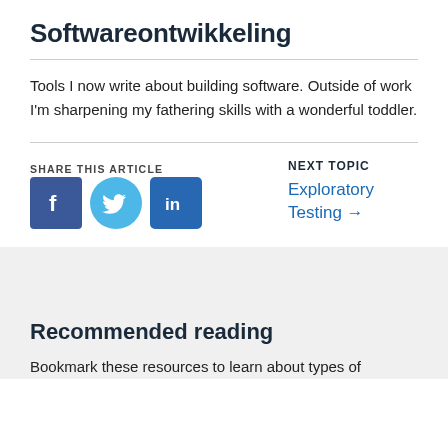Softwareontwikkeling
Tools I now write about building software. Outside of work I'm sharpening my fathering skills with a wonderful toddler.
SHARE THIS ARTICLE
[Figure (logo): Facebook, Twitter, and LinkedIn share icons]
NEXT TOPIC
Exploratory Testing →
Recommended reading
Bookmark these resources to learn about types of